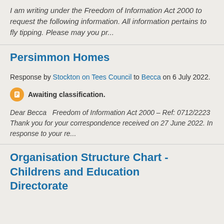I am writing under the Freedom of Information Act 2000 to request the following information. All information pertains to fly tipping. Please may you pr...
Persimmon Homes
Response by Stockton on Tees Council to Becca on 6 July 2022.
Awaiting classification.
Dear Becca   Freedom of Information Act 2000 – Ref: 0712/2223 Thank you for your correspondence received on 27 June 2022. In response to your re...
Organisation Structure Chart - Childrens and Education Directorate